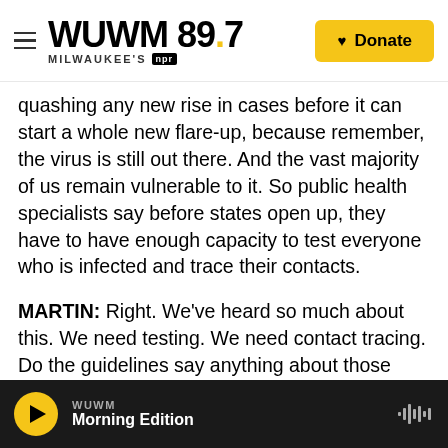WUWM 89.7 Milwaukee's NPR — Donate
quashing any new rise in cases before it can start a whole new flare-up, because remember, the virus is still out there. And the vast majority of us remain vulnerable to it. So public health specialists say before states open up, they have to have enough capacity to test everyone who is infected and trace their contacts.
MARTIN: Right. We've heard so much about this. We need testing. We need contact tracing. Do the guidelines say anything about those things?
AIZENMAN: They do note that states need to have the ability. But they don't totally state how to...
WUWM — Morning Edition